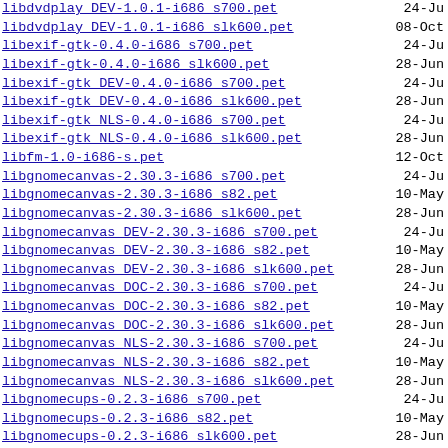libdvdplay DEV-1.0.1-i686 s700.pet
libdvdplay DEV-1.0.1-i686 slk600.pet
libexif-gtk-0.4.0-i686 s700.pet
libexif-gtk-0.4.0-i686 slk600.pet
libexif-gtk DEV-0.4.0-i686 s700.pet
libexif-gtk DEV-0.4.0-i686 slk600.pet
libexif-gtk NLS-0.4.0-i686 s700.pet
libexif-gtk NLS-0.4.0-i686 slk600.pet
libfm-1.0-i686-s.pet
libgnomecanvas-2.30.3-i686 s700.pet
libgnomecanvas-2.30.3-i686 s82.pet
libgnomecanvas-2.30.3-i686 slk600.pet
libgnomecanvas DEV-2.30.3-i686 s700.pet
libgnomecanvas DEV-2.30.3-i686 s82.pet
libgnomecanvas DEV-2.30.3-i686 slk600.pet
libgnomecanvas DOC-2.30.3-i686 s700.pet
libgnomecanvas DOC-2.30.3-i686 s82.pet
libgnomecanvas DOC-2.30.3-i686 slk600.pet
libgnomecanvas NLS-2.30.3-i686 s700.pet
libgnomecanvas NLS-2.30.3-i686 s82.pet
libgnomecanvas NLS-2.30.3-i686 slk600.pet
libgnomecups-0.2.3-i686 s700.pet
libgnomecups-0.2.3-i686 s82.pet
libgnomecups-0.2.3-i686 slk600.pet
libgnomecups DEV-0.2.3-i686 s700.pet
libgnomecups DEV-0.2.3-i686 s82.pet
libgnomecups DEV-0.2.3-i686 slk600.pet
libgnomecups NLS-0.2.3-i686 s700.pet
libgnomecups NLS-0.2.3-i686 s82.pet
libgnomecups NLS-0.2.3-i686 slk600.pet